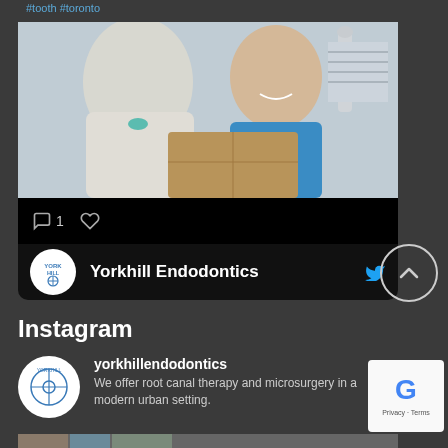#tooth #toronto
[Figure (photo): A dentist in white coat consulting with a smiling patient in blue shirt in a dental office setting]
1 (comment icon and heart icon)
Yorkhill Endodontics (Twitter account bar with logo and bird icon)
Instagram
yorkhillendodontics
We offer root canal therapy and microsurgery in a modern urban setting.
[Figure (logo): reCAPTCHA badge with Google logo, Privacy and Terms links]